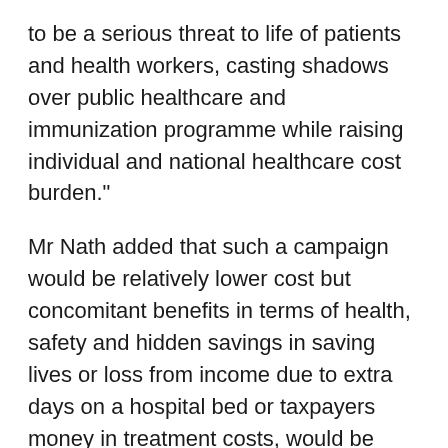to be a serious threat to life of patients and health workers, casting shadows over public healthcare and immunization programme while raising individual and national healthcare cost burden."
Mr Nath added that such a campaign would be relatively lower cost but concomitant benefits in terms of health, safety and hidden savings in saving lives or loss from income due to extra days on a hospital bed or taxpayers money in treatment costs, would be humungous.
Studies and common medical observations have found that unsafe injections can result in the transmission of blood-borne pathogens from patient to patient (through reuse of syringes); patient to healthcare worker (through needle-stick injuries) and at times from health worker to patient. The community at large is also at risk when used injection equipment is not safely disposed of and this has been shown to be the cause of outbreaks